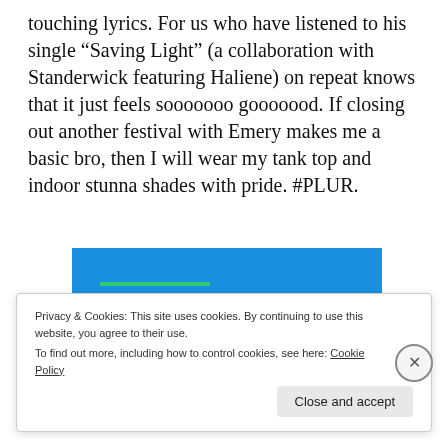touching lyrics. For us who have listened to his single “Saving Light” (a collaboration with Standerwick featuring Haliene) on repeat knows that it just feels sooooooo gooooood. If closing out another festival with Emery makes me a basic bro, then I will wear my tank top and indoor stunna shades with pride. #PLUR.
[Figure (photo): Person in white shirt and jeans leaping horizontally against a bright blue background, arms outstretched, with a green horizontal line accent near the top left.]
Privacy & Cookies: This site uses cookies. By continuing to use this website, you agree to their use.
To find out more, including how to control cookies, see here: Cookie Policy